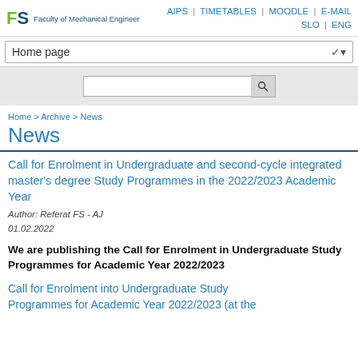FS Faculty of Mechanical Engineer | AIPS | TIMETABLES | MOODLE | E-MAIL | SLO | ENG
Home page
Home > Archive > News
News
Call for Enrolment in Undergraduate and second-cycle integrated master's degree Study Programmes in the 2022/2023 Academic Year
Author: Referat FS - AJ
01.02.2022
We are publishing the Call for Enrolment in Undergraduate Study Programmes for Academic Year 2022/2023
Call for Enrolment into Undergraduate Study Programmes for Academic Year 2022/2023 (at the